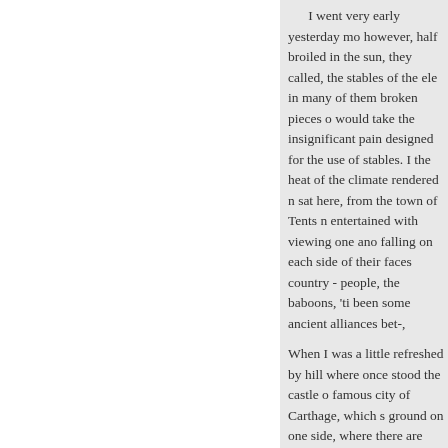I went very early yesterday mo however, half broiled in the sun, they called, the stables of the ele in many of them broken pieces o would take the insignificant pain designed for the use of stables. I the heat of the climate rendered n sat here, from the town of Tents n entertained with viewing one and falling on each side of their faces country - people, the baboons, 'ti been some ancient alliances bet-,
When I was a little refreshed by hill where once stood the castle o famous city of Carthage, which s ground on one side, where there are now no remains of it, but wha abridgement of it. You see, Sir, th your letter, by giving you the acc
m
« Anterior